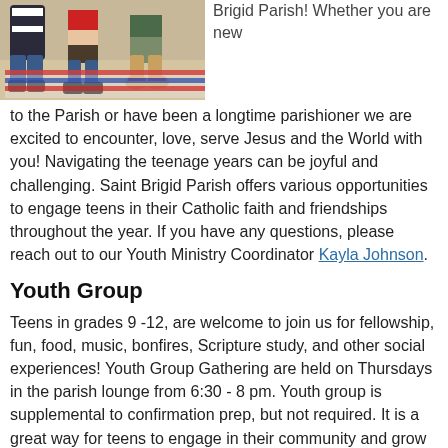[Figure (photo): A group of teens sitting on sand at a beach, wearing casual clothes and sneakers, viewed from above.]
Brigid Parish! Whether you are new to the Parish or have been a longtime parishioner we are excited to encounter, love, serve Jesus and the World with you! Navigating the teenage years can be joyful and challenging. Saint Brigid Parish offers various opportunities to engage teens in their Catholic faith and friendships throughout the year. If you have any questions, please reach out to our Youth Ministry Coordinator Kayla Johnson.
Youth Group
Teens in grades 9 -12, are welcome to join us for fellowship, fun, food, music, bonfires, Scripture study, and other social experiences! Youth Group Gathering are held on Thursdays in the parish lounge from 6:30 - 8 pm. Youth group is supplemental to confirmation prep, but not required. It is a great way for teens to engage in their community and grow in faith and fellowship.